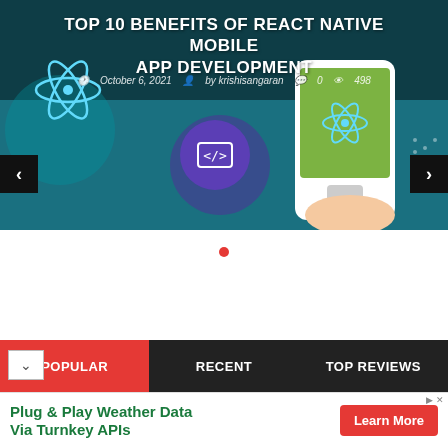[Figure (screenshot): Hero banner for a blog article about React Native mobile app development, dark teal background with a hand holding a smartphone showing the React logo, code icon, and React Native branding. Navigation arrows on each side.]
TOP 10 BENEFITS OF REACT NATIVE MOBILE APP DEVELOPMENT
October 6, 2021   by krishisangaran   0   498
[Figure (other): Red dot slider indicator]
POPULAR   RECENT   TOP REVIEWS
Plug & Play Weather Data Via Turnkey APIs   Learn More